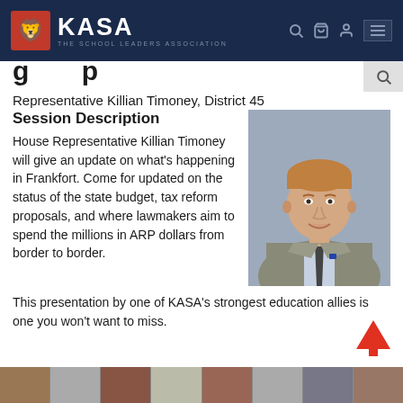[Figure (logo): KASA - The School Leaders Association logo with red emblem on dark navy navigation bar]
Representative Killian Timoney, District 45
Session Description
House Representative Killian Timoney will give an update on what's happening in Frankfort. Come for updated on the status of the state budget, tax reform proposals, and where lawmakers aim to spend the millions in ARP dollars from border to border. This presentation by one of KASA's strongest education allies is one you won't want to miss.
[Figure (photo): Professional headshot of Representative Killian Timoney, a red-haired man in a gray suit with a dark tie, smiling against a gray background]